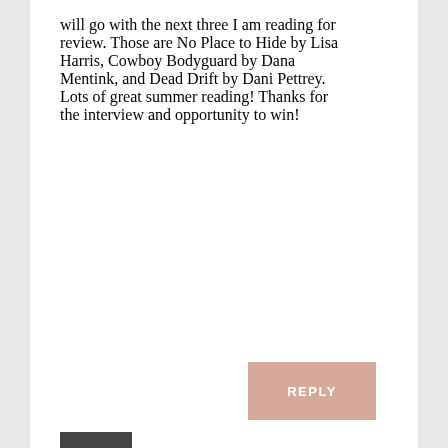will go with the next three I am reading for review. Those are No Place to Hide by Lisa Harris, Cowboy Bodyguard by Dana Mentink, and Dead Drift by Dani Pettrey. Lots of great summer reading! Thanks for the interview and opportunity to win!
REPLY